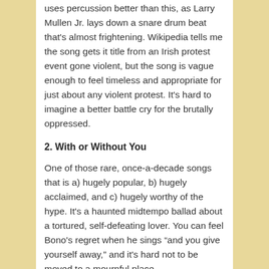uses percussion better than this, as Larry Mullen Jr. lays down a snare drum beat that's almost frightening. Wikipedia tells me the song gets it title from an Irish protest event gone violent, but the song is vague enough to feel timeless and appropriate for just about any violent protest. It's hard to imagine a better battle cry for the brutally oppressed.
2. With or Without You
One of those rare, once-a-decade songs that is a) hugely popular, b) hugely acclaimed, and c) hugely worthy of the hype. It's a haunted midtempo ballad about a tortured, self-defeating lover. You can feel Bono's regret when he sings “and you give yourself away,” and it's hard not to be moved to a mournful place.
1. One
One of my favorite songs. This is drinking sour milk